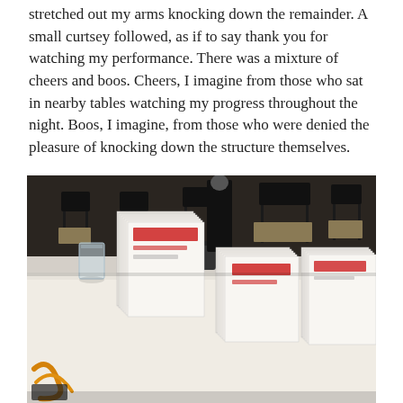stretched out my arms knocking down the remainder. A small curtsey followed, as if to say thank you for watching my performance. There was a mixture of cheers and boos. Cheers, I imagine from those who sat in nearby tables watching my progress throughout the night. Boos, I imagine, from those who were denied the pleasure of knocking down the structure themselves.
[Figure (photo): Indoor event scene showing stacks of card-sized items (likely playing cards or similar) arranged on a white tablecloth table in the foreground. Multiple stacks of varying heights are visible with some red-printed text/logos on the cards. A clear plastic cup and orange lanyard/credential are also on the table. In the background, black folding chairs and tables are visible in a hall or event space.]